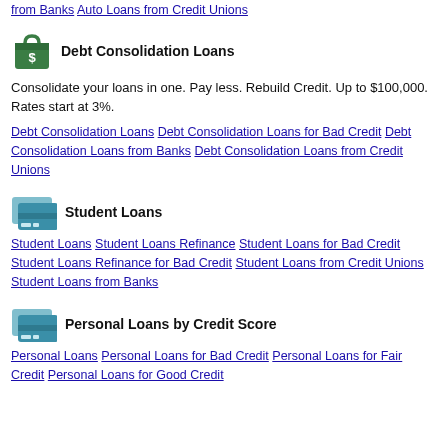from Banks  Auto Loans from Credit Unions
Debt Consolidation Loans
Consolidate your loans in one. Pay less. Rebuild Credit. Up to $100,000. Rates start at 3%.
Debt Consolidation Loans  Debt Consolidation Loans for Bad Credit  Debt Consolidation Loans from Banks  Debt Consolidation Loans from Credit Unions
Student Loans
Student Loans  Student Loans Refinance  Student Loans for Bad Credit  Student Loans Refinance for Bad Credit  Student Loans from Credit Unions  Student Loans from Banks
Personal Loans by Credit Score
Personal Loans  Personal Loans for Bad Credit  Personal Loans for Fair Credit  Personal Loans for Good Credit